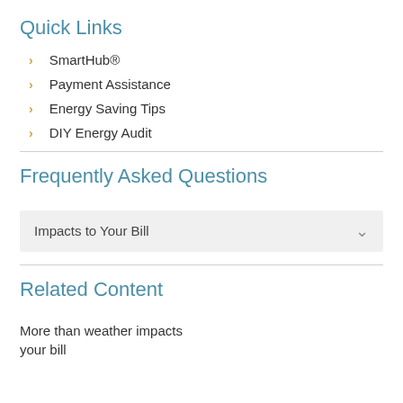Quick Links
SmartHub®
Payment Assistance
Energy Saving Tips
DIY Energy Audit
Frequently Asked Questions
Impacts to Your Bill
Related Content
More than weather impacts your bill